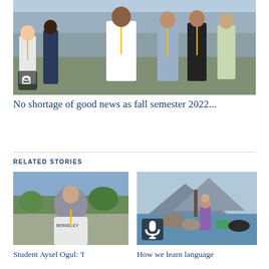[Figure (photo): Group of students walking outdoors, wearing Berkeley lanyards and attire, sunny day on campus]
No shortage of good news as fall semester 2022...
RELATED STORIES
[Figure (photo): Student Aysel Ogul wearing hijab and Berkeley sweatshirt, standing outdoors on campus]
Student Aysel Ogul: 'I
[Figure (photo): Two people by a lake or waterway near rocks, mountains in background]
How we learn language